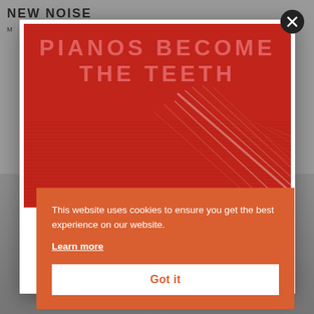[Figure (illustration): Background page of New Noise Magazine website, dimmed behind modal overlay]
[Figure (illustration): Red album cover image with large salmon/pink bold text reading PIANOS BECOME THE TEETH, and diagonal line texture pattern in lower right]
This website uses cookies to ensure you get the best experience on our website.
Learn more
Got it